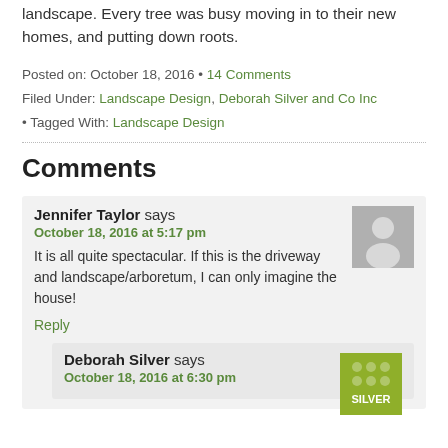landscape. Every tree was busy moving in to their new homes, and putting down roots.
Posted on: October 18, 2016 • 14 Comments
Filed Under: Landscape Design, Deborah Silver and Co Inc
• Tagged With: Landscape Design
Comments
Jennifer Taylor says
October 18, 2016 at 5:17 pm
It is all quite spectacular. If this is the driveway and landscape/arboretum, I can only imagine the house!
Reply
Deborah Silver says
October 18, 2016 at 6:30 pm